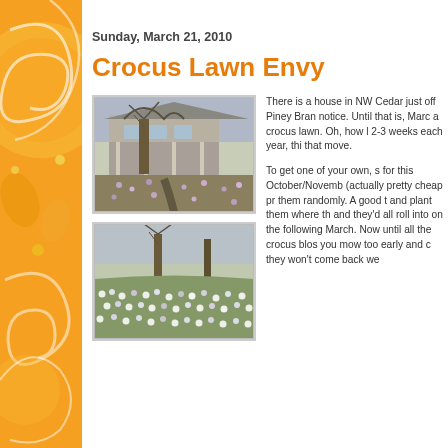Sunday, March 21, 2010
Crocus Lawn Envy
[Figure (photo): Photo of a house with crocus flowers blooming across the front lawn, stone path visible, large tree in front]
[Figure (photo): Photo of a lawn densely covered with small white and purple crocus flowers, trees in background]
There is a house in NW Cedar just off Piney Bran notice. Until that is, Marc a crocus lawn. Oh, how l 2-3 weeks each year, thi that move.
To get one of your own, s for this October/Novemb (actually pretty cheap pr them randomly. A good t and plant them where th and they'd all roll into on the following March. Now until all the crocus blos you mow too early and c they won't come back we